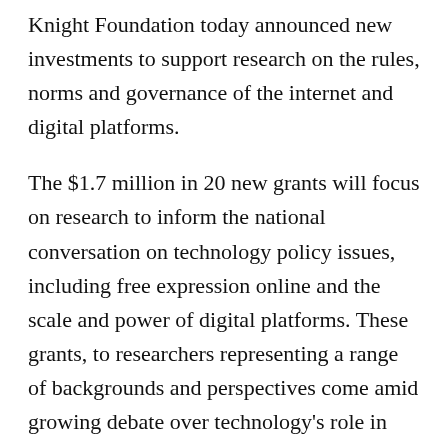Knight Foundation today announced new investments to support research on the rules, norms and governance of the internet and digital platforms.
The $1.7 million in 20 new grants will focus on research to inform the national conversation on technology policy issues, including free expression online and the scale and power of digital platforms. These grants, to researchers representing a range of backgrounds and perspectives come amid growing debate over technology's role in our democracy.
“As we proceed from a pandemic to an election, everything about technology is getting bigger: the companies, their role in our lives, and the debate about how to manage what we say and do online,” said Sam Gill, Knight’s senior